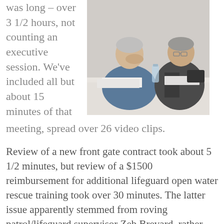was long – over 3 1/2 hours, not counting an executive session. We've included all but about 15 minutes of that meeting, spread over 26 video clips.
[Figure (photo): Two older men sitting at a table in a meeting. The man on the left has his hand on his forehead looking down. The man on the right wears glasses.]
Review of a new front gate contract took about 5 1/2 minutes, but review of a $1500 reimbursement for additional lifeguard open water rescue training took over 30 minutes. The latter issue apparently stemmed from roving patrol/lifeguard supervisor Zeb Brevard, rather than the board, authorizing an